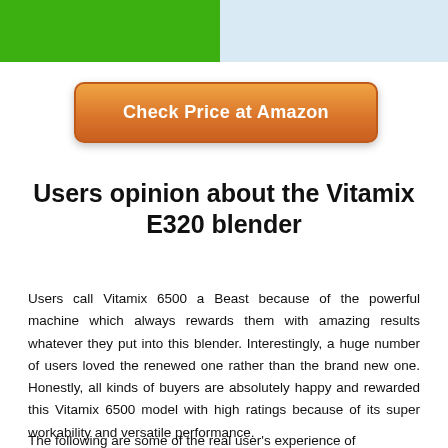[Figure (other): Top banner with green left section and light blue right section]
Check Price at Amazon
Users opinion about the Vitamix E320 blender
Users call Vitamix 6500 a Beast because of the powerful machine which always rewards them with amazing results whatever they put into this blender. Interestingly, a huge number of users loved the renewed one rather than the brand new one. Honestly, all kinds of buyers are absolutely happy and rewarded this Vitamix 6500 model with high ratings because of its super workability and versatile performance.
The following are some of the real user's experience of